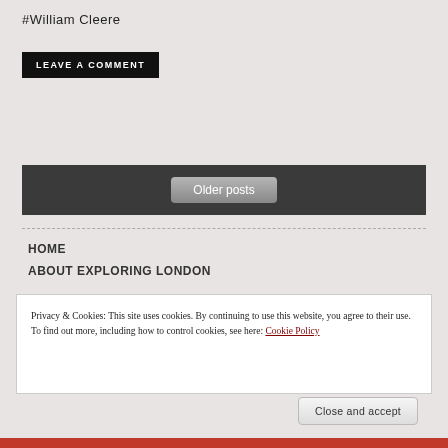#William Cleere
LEAVE A COMMENT
Older posts
HOME
ABOUT EXPLORING LONDON
Privacy & Cookies: This site uses cookies. By continuing to use this website, you agree to their use.
To find out more, including how to control cookies, see here: Cookie Policy
Close and accept